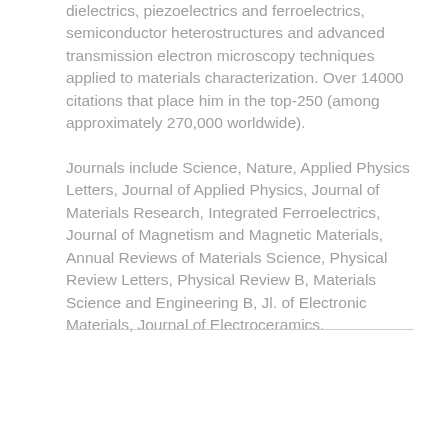dielectrics, piezoelectrics and ferroelectrics, semiconductor heterostructures and advanced transmission electron microscopy techniques applied to materials characterization. Over 14000 citations that place him in the top-250 (among approximately 270,000 worldwide).
Journals include Science, Nature, Applied Physics Letters, Journal of Applied Physics, Journal of Materials Research, Integrated Ferroelectrics, Journal of Magnetism and Magnetic Materials, Annual Reviews of Materials Science, Physical Review Letters, Physical Review B, Materials Science and Engineering B, Jl. of Electronic Materials, Journal of Electroceramics.